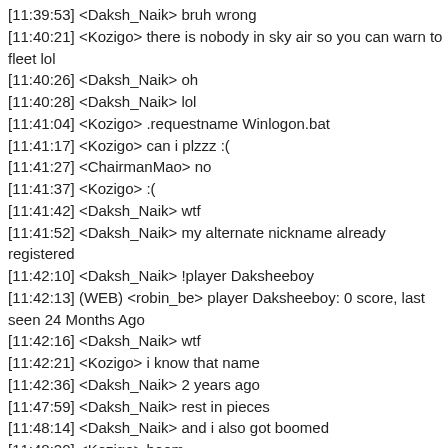[11:39:53] <Daksh_Naik> bruh wrong
[11:40:21] <Kozigo> there is nobody in sky air so you can warn to fleet lol
[11:40:26] <Daksh_Naik> oh
[11:40:28] <Daksh_Naik> lol
[11:41:04] <Kozigo> .requestname Winlogon.bat
[11:41:17] <Kozigo> can i plzzz :(
[11:41:27] <ChairmanMao> no
[11:41:37] <Kozigo> :(
[11:41:42] <Daksh_Naik> wtf
[11:41:52] <Daksh_Naik> my alternate nickname already registered
[11:42:10] <Daksh_Naik> !player Daksheeboy
[11:42:13] (WEB) <robin_be> player Daksheeboy: 0 score, last seen 24 Months Ago
[11:42:16] <Daksh_Naik> wtf
[11:42:21] <Kozigo> i know that name
[11:42:36] <Daksh_Naik> 2 years ago
[11:47:59] <Daksh_Naik> rest in pieces
[11:48:14] <Daksh_Naik> and i also got boomed
[11:48:20] <Kozigo> boom
[11:49:21] <-- Kozigo disconnected from the server
[11:49:23] <-- Daksh_Naik disconnected from the server
[12:00:40] (WEB) <arnir#9350> hi
[12:00:48] <ChairmanMao> hi